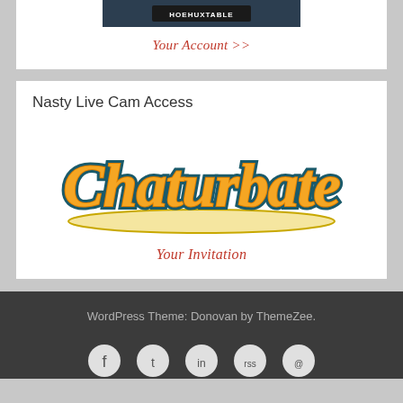[Figure (photo): A dark photo with a label tag reading HOEHUXTABLE]
Your Account >>
Nasty Live Cam Access
[Figure (logo): Chaturbate logo in orange script with teal outline on white background]
Your Invitation
WordPress Theme: Donovan by ThemeZee.